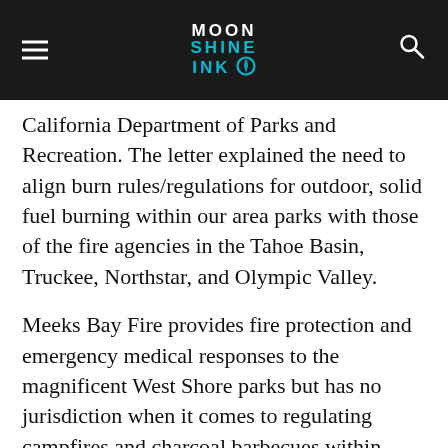MOON SHINE INK
California Department of Parks and Recreation. The letter explained the need to align burn rules/regulations for outdoor, solid fuel burning within our area parks with those of the fire agencies in the Tahoe Basin, Truckee, Northstar, and Olympic Valley.
Meeks Bay Fire provides fire protection and emergency medical responses to the magnificent West Shore parks but has no jurisdiction when it comes to regulating campfires and charcoal barbecues within those facilities.